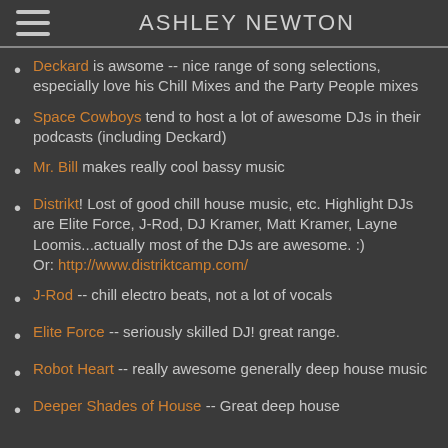ASHLEY NEWTON
Deckard is awsome -- nice range of song selections, especially love his Chill Mixes and the Party People mixes
Space Cowboys tend to host a lot of awesome DJs in their podcasts (including Deckard)
Mr. Bill makes really cool bassy music
Distrikt! Lost of good chill house music, etc. Highlight DJs are Elite Force, J-Rod, DJ Kramer, Matt Kramer, Layne Loomis...actually most of the DJs are awesome. :) Or: http://www.distriktcamp.com/
J-Rod -- chill electro beats, not a lot of vocals
Elite Force -- seriously skilled DJ! great range.
Robot Heart -- really awesome generally deep house music
Deeper Shades of House -- Great deep house